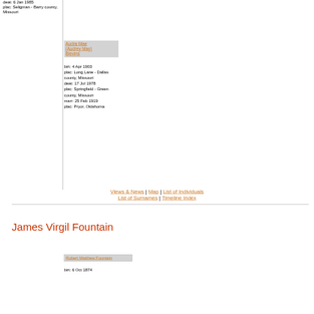deat: 6 Jan 1985
plac: Seligman - Barry county, Missouri
Audra Mae (Audrey May) Blevins
birt: 4 Apr 1903
plac: Long Lane - Dallas county, Missouri
deat: 17 Jul 1978
plac: Springfield - Green county, Missouri
marr: 25 Feb 1919
plac: Pryor, Oklahoma
Views & News | Map | List of Individuals | List of Surnames | Timeline Index
James Virgil Fountain
Robert Matthew Fountain
birt: 6 Oct 1874